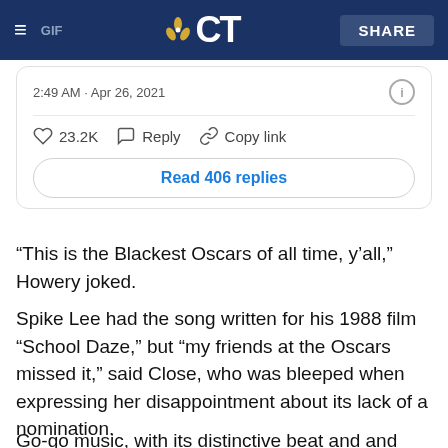≡  GIF   CT   SHARE
[Figure (screenshot): Tweet engagement bar showing 2:49 AM · Apr 26, 2021 with info icon, 23.2K likes, Reply, Copy link, and Read 406 replies button]
“This is the Blackest Oscars of all time, y’all,” Howery joked.
Spike Lee had the song written for his 1988 film “School Daze,” but “my friends at the Oscars missed it,” said Close, who was bleeped when expressing her disappointment about its lack of a nomination.
Go-go music, with its distinctive beat and and emphasis on